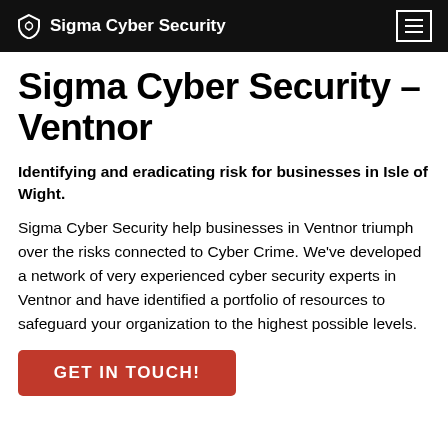Sigma Cyber Security
Sigma Cyber Security – Ventnor
Identifying and eradicating risk for businesses in Isle of Wight.
Sigma Cyber Security help businesses in Ventnor triumph over the risks connected to Cyber Crime. We've developed a network of very experienced cyber security experts in Ventnor and have identified a portfolio of resources to safeguard your organization to the highest possible levels.
GET IN TOUCH!